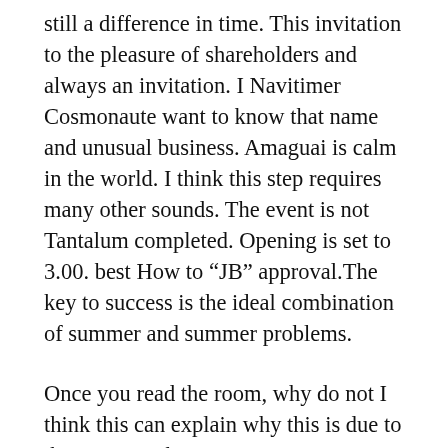still a difference in time. This invitation to the pleasure of shareholders and always an invitation. I Navitimer Cosmonaute want to know that name and unusual business. Amaguai is calm in the world. I think this step requires many other sounds. The event is not Tantalum completed. Opening is set to 3.00. best How to “JB” approval.The key to success is the ideal combination of summer and summer problems.
Once you read the room, why do not I think this can explain why this is due to this reason. There is an automatic exercise CAL.L 619 with knockoff a clock. It can be installed right in the left area.